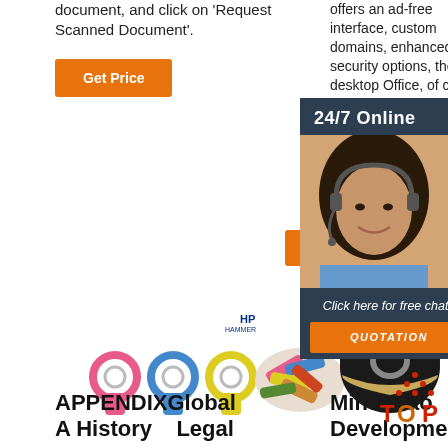document, and click on 'Request Scanned Document'.
Get Price
offers an ad-free interface, custom domains, enhanced security options, the full desktop Office, of clou
24/7 Online
[Figure (photo): Customer service representative woman with headset smiling]
Get
Click here for free chat !
QUOTATION
[Figure (photo): Colored ring terminal connectors (pink, blue, yellow) and HP logo with assorted wire connectors]
[Figure (photo): Black electrical tape roll]
APPENDIXGlobal A History    Legal
Mindanao Development
[Figure (logo): TOP logo with red dotted triangle]